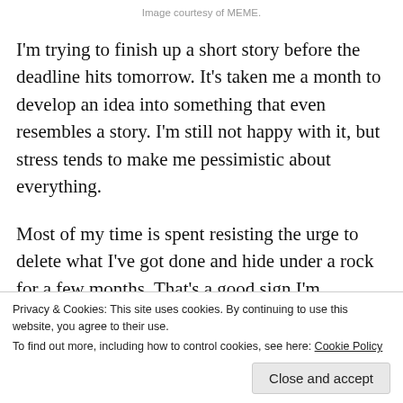Image courtesy of MEME.
I'm trying to finish up a short story before the deadline hits tomorrow. It's taken me a month to develop an idea into something that even resembles a story. I'm still not happy with it, but stress tends to make me pessimistic about everything.
Most of my time is spent resisting the urge to delete what I've got done and hide under a rock for a few months. That's a good sign I'm struggling with other issues. Pessimism is something that a good deal of
Privacy & Cookies: This site uses cookies. By continuing to use this website, you agree to their use.
To find out more, including how to control cookies, see here: Cookie Policy
Close and accept